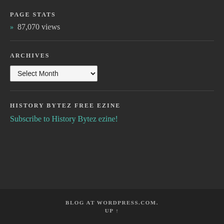PAGE STATS
» 87,070 views
ARCHIVES
Select Month
HISTORY BYTEZ FREE EZINE
Subscribe to History Bytez ezine!
BLOG AT WORDPRESS.COM. UP ↑